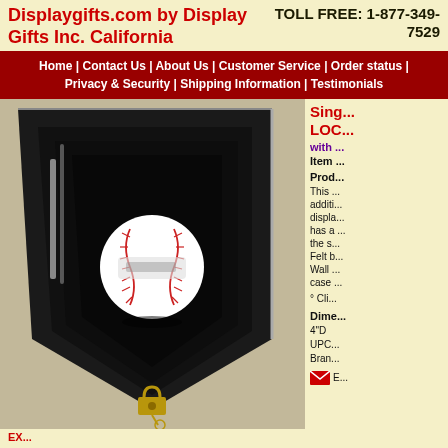Displaygifts.com by Display Gifts Inc. California | TOLL FREE: 1-877-349-7529
Home | Contact Us | About Us | Customer Service | Order status | Privacy & Security | Shipping Information | Testimonials
[Figure (photo): Baseball display case shaped like a home plate, black wood with glass front, containing a signed baseball, with lock visible at bottom]
Single Baseball LOCKABLE Display Case with ...
Item ...
Product Description
This ... additional ... display ... has a ... the s... Felt b... Wall ... case ...
° Cli...
Dimensions
4"D
UPC...
Brand...
EX...